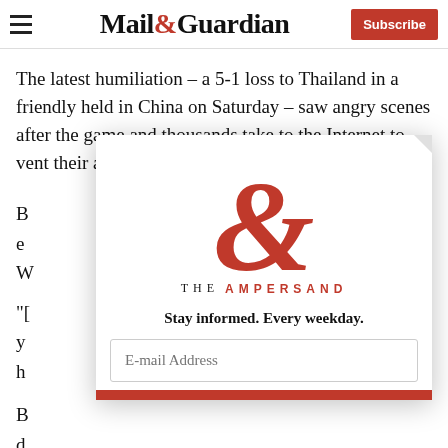Mail&Guardian | Subscribe
The latest humiliation – a 5-1 loss to Thailand in a friendly held in China on Saturday – saw angry scenes after the game and thousands take to the Internet to vent their anger.
[Figure (screenshot): Mail & Guardian newsletter signup popup overlay with The Ampersand logo, tagline 'Stay informed. Every weekday.' and email address input field, with red bar at bottom.]
B... e... W...
"[...] s y... ' h...
B... d...